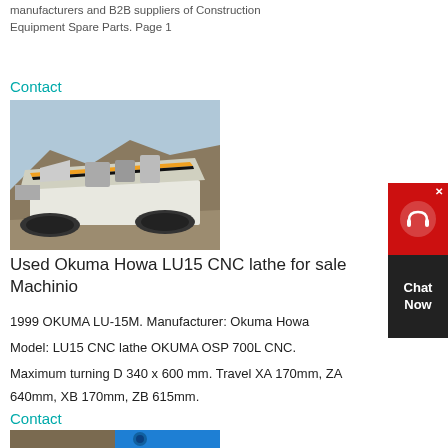manufacturers and B2B suppliers of Construction Equipment Spare Parts. Page 1
Contact
[Figure (photo): Construction/mining machine (tracked crushing or screening equipment) operating at a quarry or excavation site with rocky terrain in the background.]
Used Okuma Howa LU15 CNC lathe for sale Machinio
1999 OKUMA LU-15M. Manufacturer: Okuma Howa
Model: LU15 CNC lathe OKUMA OSP 700L CNC.
Maximum turning D 340 x 600 mm. Travel XA 170mm, ZA 640mm, XB 170mm, ZB 615mm.
Contact
[Figure (photo): Partial view of another machine listing, blue-toned image.]